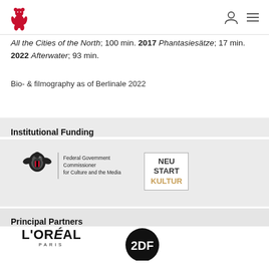Berlinale logo, user icon, menu icon
All the Cities of the North; 100 min. 2017 Phantasiesätze; 17 min. 2022 Afterwater; 93 min.
Bio- & filmography as of Berlinale 2022
Institutional Funding
[Figure (logo): Federal Government Commissioner for Culture and the Media logo with eagle emblem]
[Figure (logo): Neustart Kultur logo in a box]
Principal Partners
[Figure (logo): L'Oréal Paris logo]
[Figure (logo): ZDF logo - black circle with 2DF in white]